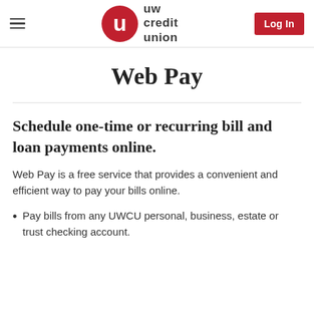UW Credit Union | Log In
Web Pay
Schedule one-time or recurring bill and loan payments online.
Web Pay is a free service that provides a convenient and efficient way to pay your bills online.
Pay bills from any UWCU personal, business, estate or trust checking account.